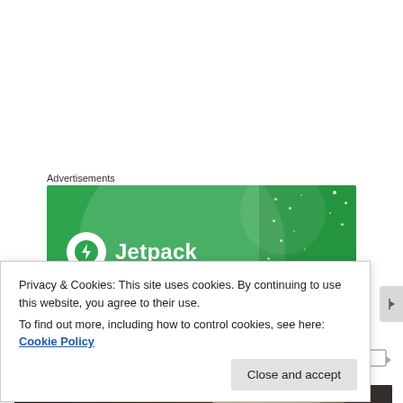Advertisements
[Figure (logo): Jetpack advertisement banner — green background with circular gradient, Jetpack logo (white circle with lightning bolt icon) and 'Jetpack' text in white]
Sponsored Content
[Figure (photo): Hand holding a US dollar bill against a dark background]
Privacy & Cookies: This site uses cookies. By continuing to use this website, you agree to their use.
To find out more, including how to control cookies, see here: Cookie Policy
Close and accept